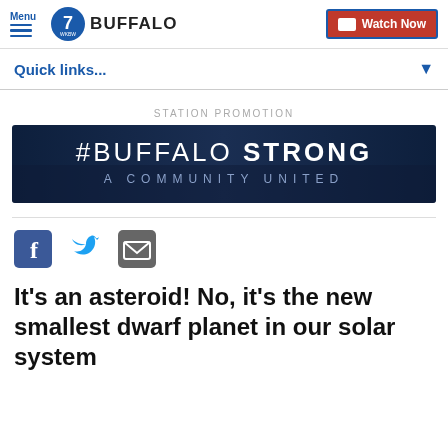Menu | 7 WKBW BUFFALO | Watch Now
Quick links...
STATION PROMOTION
[Figure (illustration): #BUFFALO STRONG A COMMUNITY UNITED promotional banner with dark blue background]
[Figure (other): Social share icons: Facebook, Twitter, Email]
It's an asteroid! No, it's the new smallest dwarf planet in our solar system